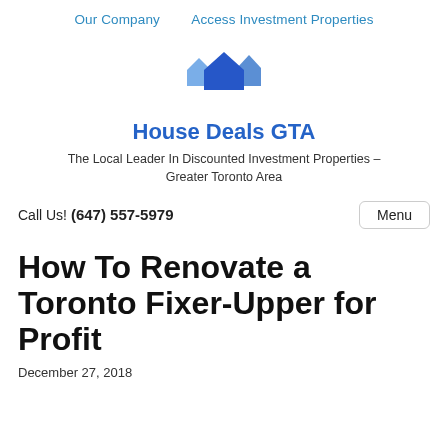Our Company   Access Investment Properties
[Figure (logo): House Deals GTA logo with three blue house silhouettes]
House Deals GTA
The Local Leader In Discounted Investment Properties – Greater Toronto Area
Call Us! (647) 557-5979   Menu
How To Renovate a Toronto Fixer-Upper for Profit
December 27, 2018